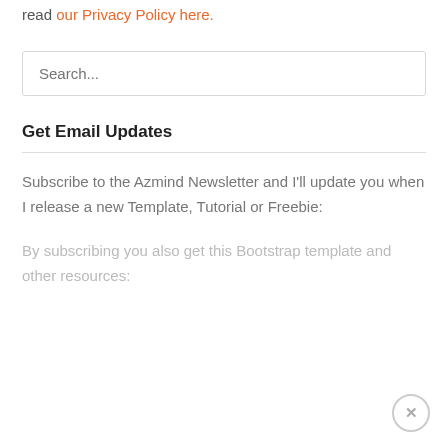To learn how we use your data when you comment, read our Privacy Policy here.
[Figure (screenshot): Search input field with placeholder text 'Search...']
Get Email Updates
Subscribe to the Azmind Newsletter and I'll update you when I release a new Template, Tutorial or Freebie:
By subscribing you also get this Bootstrap template and other resources: